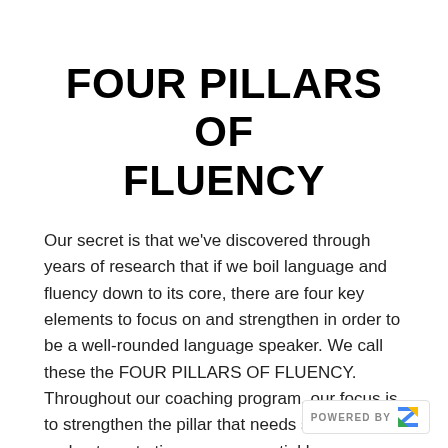FOUR PILLARS OF FLUENCY
Our secret is that we've discovered through years of research that if we boil language and fluency down to its core, there are four key elements to focus on and strengthen in order to be a well-rounded language speaker. We call these the FOUR PILLARS OF FLUENCY. Throughout our coaching program, our focus is to strengthen the pillar that needs strengthened and not waste time on unessential lessons.
POWERED BY Z